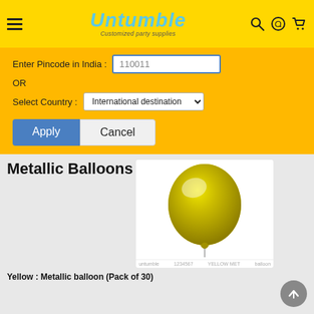[Figure (logo): Untumble logo with text 'Customized party supplies' on yellow background header with hamburger menu, search, WhatsApp, and cart icons]
Enter Pincode in India : 110011
OR
Select Country : International destination
Apply
Cancel
Metallic Balloons
[Figure (photo): Yellow metallic balloon product image with shine highlight]
Yellow : Metallic balloon (Pack of 30)